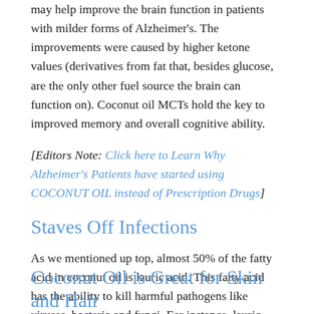may help improve the brain function in patients with milder forms of Alzheimer's. The improvements were caused by higher ketone values (derivatives from fat that, besides glucose, are the only other fuel source the brain can function on). Coconut oil MCTs hold the key to improved memory and overall cognitive ability.
[Editors Note: Click here to Learn Why Alzheimer's Patients have started using COCONUT OIL instead of Prescription Drugs]
Staves Off Infections
As we mentioned up top, almost 50% of the fatty acid in coconut oil is lauric acid. This fatty acid has the ability to kill harmful pathogens like viruses, bacteria and fungi. For instance, lauric acid has been shown to kill the bacteria Staphylococcus Aureus, which is very dangerous, as well as the yeast Candida Albicans.
Coconut Oil is Great for Skin and Hair